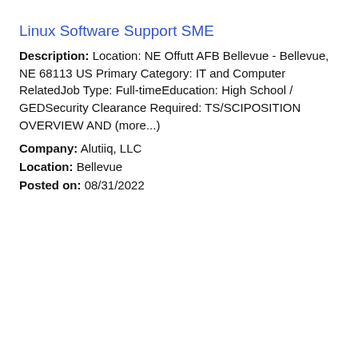Linux Software Support SME
Description: Location: NE Offutt AFB Bellevue - Bellevue, NE 68113 US Primary Category: IT and Computer RelatedJob Type: Full-timeEducation: High School / GEDSecurity Clearance Required: TS/SCIPOSITION OVERVIEW AND (more...)
Company: Alutiiq, LLC
Location: Bellevue
Posted on: 08/31/2022